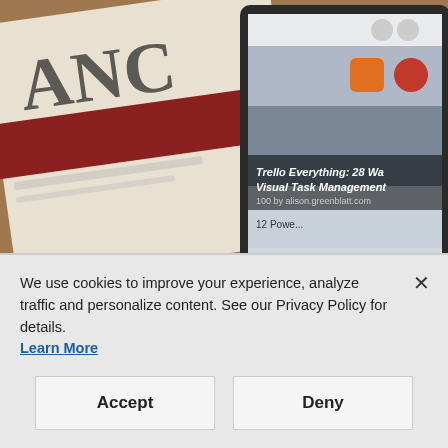[Figure (photo): A blurred photo showing a folded newspaper in the left half and a tablet/phone showing a digital article about 'Trello Everything: 28 Visual Task Management' and '12 Po...' on the right half, on a wooden surface.]
WEB CMS
WordPress Turns 18, Drupal Adds to the Team & More Open Source News
We use cookies to improve your experience, analyze traffic and personalize content. See our Privacy Policy for details.
Learn More
Accept
Deny